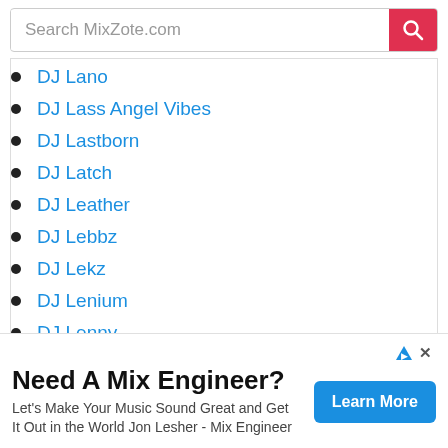Search MixZote.com
DJ Lano
DJ Lass Angel Vibes
DJ Lastborn
DJ Latch
DJ Leather
DJ Lebbz
DJ Lekz
DJ Lenium
DJ Lenny
DJ Leppard
DJ Leskie
Need A Mix Engineer? Let's Make Your Music Sound Great and Get It Out in the World Jon Lesher - Mix Engineer
Learn More